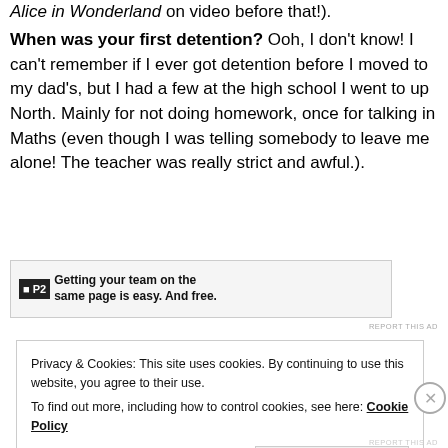Alice in Wonderland on video before that!).
When was your first detention? Ooh, I don't know! I can't remember if I ever got detention before I moved to my dad's, but I had a few at the high school I went to up North. Mainly for not doing homework, once for talking in Maths (even though I was telling somebody to leave me alone! The teacher was really strict and awful.).
[Figure (screenshot): Advertisement banner for P2 with text: Getting your team on the same page is easy. And free.]
REPORT THIS AD
Privacy & Cookies: This site uses cookies. By continuing to use this website, you agree to their use. To find out more, including how to control cookies, see here: Cookie Policy
Close and accept
REPORT THIS AD